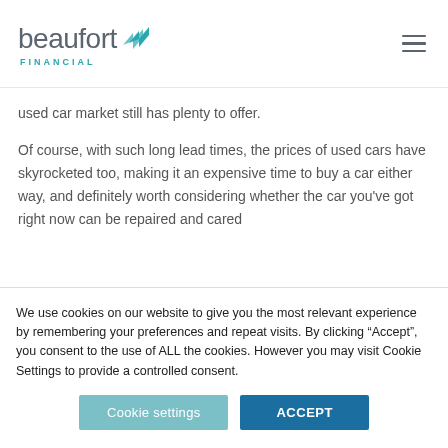[Figure (logo): Beaufort Financial logo with teal chevron arrows and 'beaufort' in grey with 'FINANCIAL' in teal below]
used car market still has plenty to offer.
Of course, with such long lead times, the prices of used cars have skyrocketed too, making it an expensive time to buy a car either way, and definitely worth considering whether the car you've got right now can be repaired and cared
We use cookies on our website to give you the most relevant experience by remembering your preferences and repeat visits. By clicking “Accept”, you consent to the use of ALL the cookies. However you may visit Cookie Settings to provide a controlled consent.